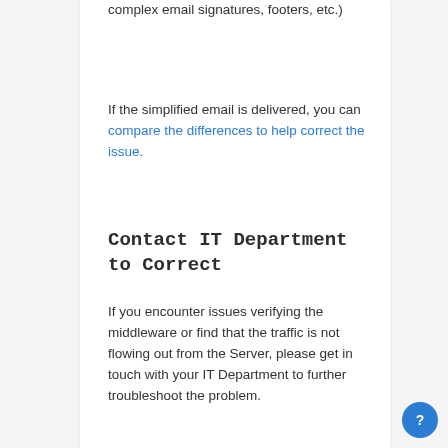complex email signatures, footers, etc.)
If the simplified email is delivered, you can compare the differences to help correct the issue.
Contact IT Department to Correct
If you encounter issues verifying the middleware or find that the traffic is not flowing out from the Server, please get in touch with your IT Department to further troubleshoot the problem.